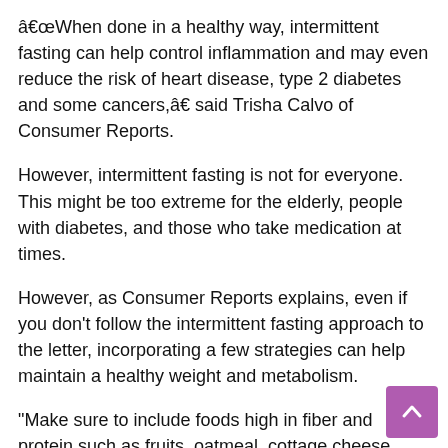“When done in a healthy way, intermittent fasting can help control inflammation and may even reduce the risk of heart disease, type 2 diabetes and some cancers,” said Trisha Calvo of Consumer Reports.
However, intermittent fasting is not for everyone. This might be too extreme for the elderly, people with diabetes, and those who take medication at times.
However, as Consumer Reports explains, even if you don’t follow the intermittent fasting approach to the letter, incorporating a few strategies can help maintain a healthy weight and metabolism.
“Make sure to include foods high in fiber and protein such as fruits, oatmeal, cottage cheese eggs. Foods like these will help keep you satisfied until your next meal.” , Calvo said.
If you are drawn to sweets and desserts, CR suggests consuming them before 3 p.m. Your body is more efficient at